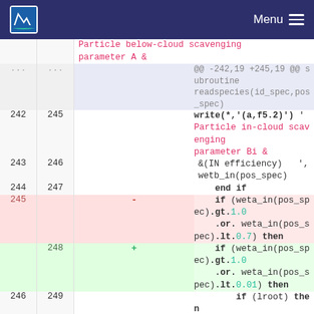NILU Menu
Code diff showing changes to Fortran subroutine readspecies: particle scavenging parameters
| old line | new line | sign | code |
| --- | --- | --- | --- |
|  |  |  | Particle below-cloud scavenging parameter A & |
| ... | ... |  | @@ -242,19 +245,19 @@ subroutine readspecies(id_spec,pos_spec) |
| 242 | 245 |  | write(*,'(a,f5.2)') ' Particle in-cloud scavenging parameter Bi & |
| 243 | 246 |  | &(IN efficiency)   ', wetb_in(pos_spec) |
| 244 | 247 |  | end if |
| 245 |  | - | if (weta_in(pos_spec).gt.1.0 .or. weta_in(pos_spec).lt.0.7) then |
|  | 248 | + | if (weta_in(pos_spec).gt.1.0 .or. weta_in(pos_spec).lt.0.01) then |
| 246 | 249 |  | if (lroot) then |
| 247 | 250 |  | write(*,*) '***********************************'  |
| 248 | 251 |  | write(*,*)  ' WARNING: Particle in-cloud scavenging |